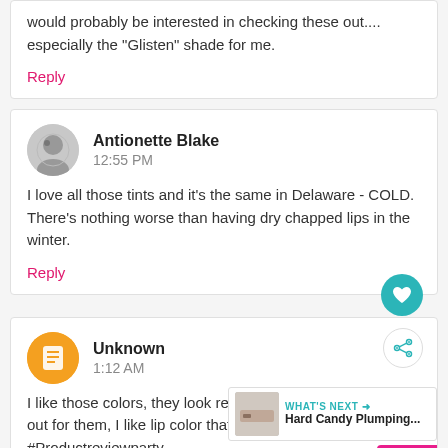would probably be interested in checking these out.... especially the "Glisten" shade for me.
Reply
Antionette Blake
12:55 PM
I love all those tints and it's the same in Delaware - COLD. There's nothing worse than having dry chapped lips in the winter.
Reply
Unknown
1:12 AM
I like those colors, they look really nice on y... have to look out for them, I like lip color that is more ... a light tint. #Productreviewparty